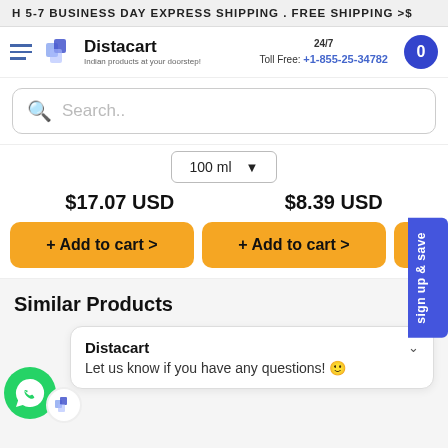H 5-7 BUSINESS DAY EXPRESS SHIPPING . FREE SHIPPING >$
[Figure (logo): Distacart logo with icon and tagline 'Indian products at your doorstep!']
24/7 Toll Free: +1-855-25-34782
Search..
100 ml
$17.07 USD
$8.39 USD
+ Add to cart >
+ Add to cart >
Similar Products
Distacart
Let us know if you have any questions! 😊